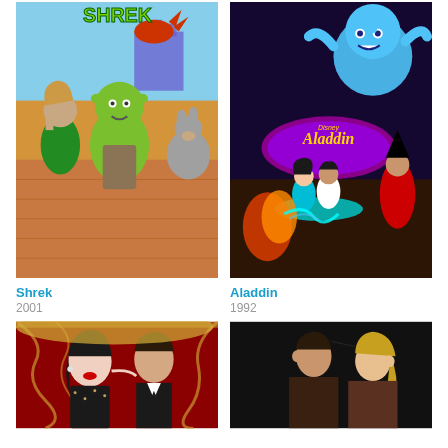[Figure (photo): Shrek movie poster showing Shrek, Fiona, Donkey running with dragon and castle in background]
[Figure (photo): Aladdin Disney movie poster with Genie, Jasmine, Aladdin on magic carpet and Jafar]
Shrek
2001
Aladdin
1992
[Figure (photo): Moulin Rouge style movie poster with woman in black hair and man in tuxedo against red ornate background]
[Figure (photo): Movie poster showing a man and woman facing each other in profile against dark background]